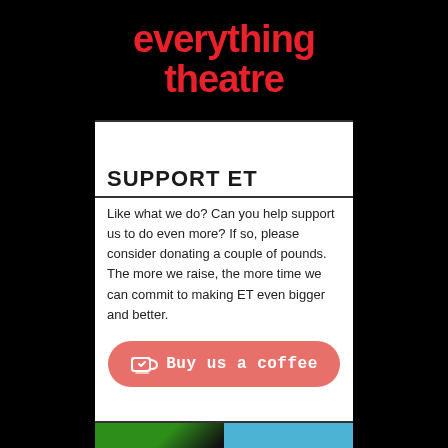[Figure (logo): Everything Theatre logo — bold red text on black background reading 'everything theatre']
SUPPORT ET
Like what we do? Can you help support us to do even more? If so, please consider donating a couple of pounds. The more we raise, the more time we can commit to making ET even bigger and better.
[Figure (illustration): Buy us a coffee button — rounded rectangle in coral/salmon color with coffee cup icon and text 'Buy us a coffee' in monospace font]
[Figure (photo): Bottom section showing two images: left is a Wicked musical photo with green and black tones, right is ATG Tickets logo on blue background]